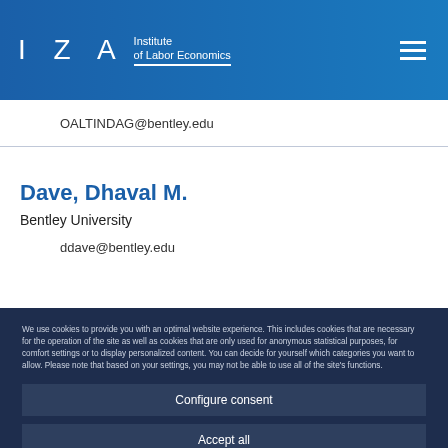[Figure (logo): IZA Institute of Labor Economics logo with white text on blue header, hamburger menu icon on right]
OALTINDAG@bentley.edu
Dave, Dhaval M.
Bentley University
ddave@bentley.edu
We use cookies to provide you with an optimal website experience. This includes cookies that are necessary for the operation of the site as well as cookies that are only used for anonymous statistical purposes, for comfort settings or to display personalized content. You can decide for yourself which categories you want to allow. Please note that based on your settings, you may not be able to use all of the site's functions.
Configure consent
Accept all